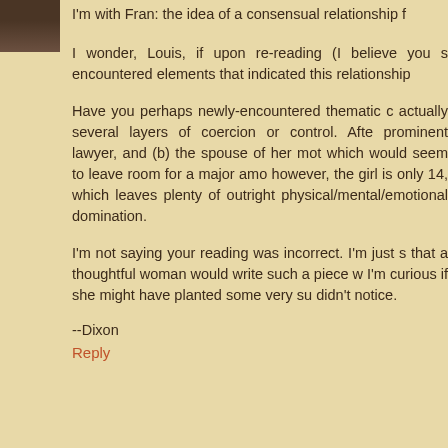[Figure (photo): Small avatar photo of a person, dark toned image in upper left corner]
I'm with Fran: the idea of a consensual relationship f
I wonder, Louis, if upon re-reading (I believe you s encountered elements that indicated this relationship
Have you perhaps newly-encountered thematic c actually several layers of coercion or control. Afte prominent lawyer, and (b) the spouse of her mot which would seem to leave room for a major amo however, the girl is only 14, which leaves plenty of outright physical/mental/emotional domination.
I'm not saying your reading was incorrect. I'm just s that a thoughtful woman would write such a piece w I'm curious if she might have planted some very su didn't notice.
--Dixon
Reply